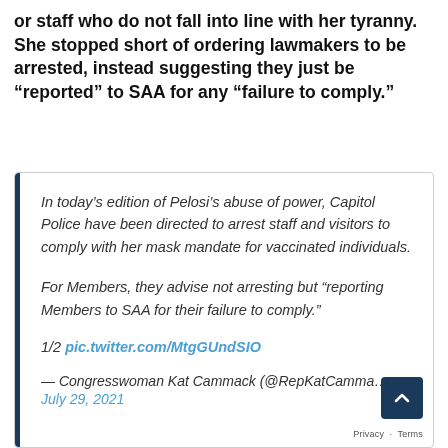or staff who do not fall into line with her tyranny. She stopped short of ordering lawmakers to be arrested, instead suggesting they just be "reported" to SAA for any "failure to comply."
In today's edition of Pelosi's abuse of power, Capitol Police have been directed to arrest staff and visitors to comply with her mask mandate for vaccinated individuals.

For Members, they advise not arresting but "reporting Members to SAA for their failure to comply."

1/2 pic.twitter.com/MtgGUndSIO

— Congresswoman Kat Cammack (@RepKatCamma…
July 29, 2021